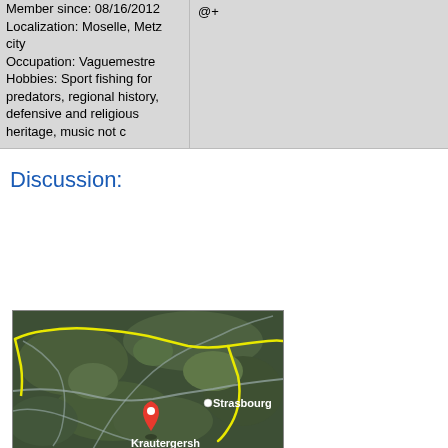Member since: 08/16/2012
Localization: Moselle, Metz city
Occupation: Vaguemestre
Hobbies: Sport fishing for predators, regional history, defensive and religious heritage, music not c
@+
Discussion:
[Figure (map): Satellite map showing a yellow highlighted route/border area in the Alsace/Moselle region of France, with a red pin marker at Krautergersh and Strasbourg labeled nearby.]